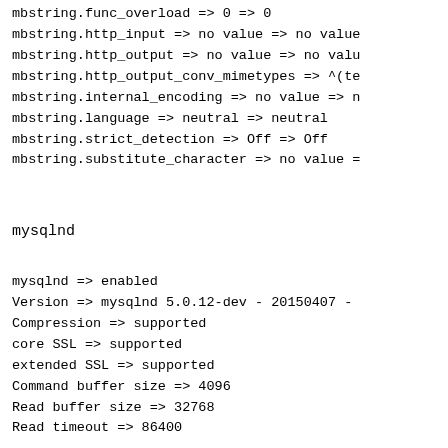mbstring.func_overload => 0 => 0
mbstring.http_input => no value => no value
mbstring.http_output => no value => no valu
mbstring.http_output_conv_mimetypes => ^(te
mbstring.internal_encoding => no value => n
mbstring.language => neutral => neutral
mbstring.strict_detection => Off => Off
mbstring.substitute_character => no value =
mysqlnd
mysqlnd => enabled
Version => mysqlnd 5.0.12-dev - 20150407 -
Compression => supported
core SSL => supported
extended SSL => supported
Command buffer size => 4096
Read buffer size => 32768
Read timeout => 86400